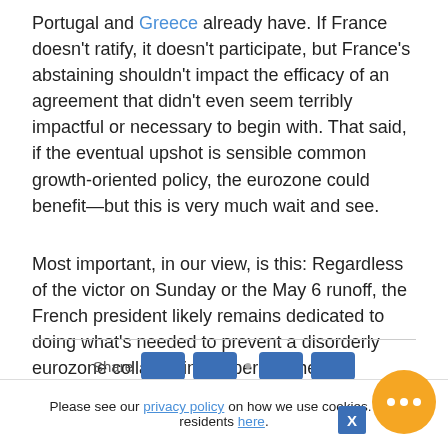Portugal and Greece already have. If France doesn't ratify, it doesn't participate, but France's abstaining shouldn't impact the efficacy of an agreement that didn't even seem terribly impactful or necessary to begin with. That said, if the eventual upshot is sensible common growth-oriented policy, the eurozone could benefit—but this is very much wait and see.
Most important, in our view, is this: Regardless of the victor on Sunday or the May 6 runoff, the French president likely remains dedicated to doing what's needed to prevent a disorderly eurozone collapse in the period ahead.
Please see our privacy policy on how we use cookies. C... residents here.